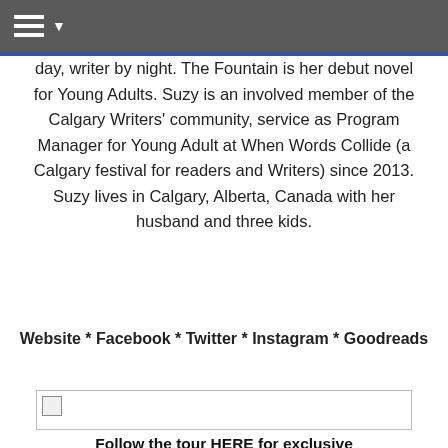Navigation bar with hamburger menu
day, writer by night. The Fountain is her debut novel for Young Adults. Suzy is an involved member of the Calgary Writers' community, service as Program Manager for Young Adult at When Words Collide (a Calgary festival for readers and Writers) since 2013. Suzy lives in Calgary, Alberta, Canada with her husband and three kids.
Website * Facebook * Twitter * Instagram * Goodreads
[Figure (photo): Image placeholder (broken image icon) inside a bordered rectangle]
Follow the tour HERE for exclusive excerpts, guest posts and a giveaway!